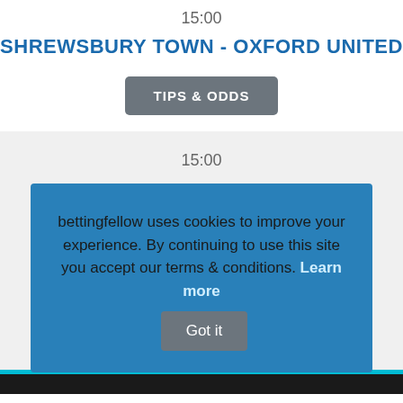15:00
SHREWSBURY TOWN - OXFORD UNITED
TIPS & ODDS
15:00
SWINDON TOWN - IPSWICH TOWN
bettingfellow uses cookies to improve your experience. By continuing to use this site you accept our terms & conditions. Learn more  Got it